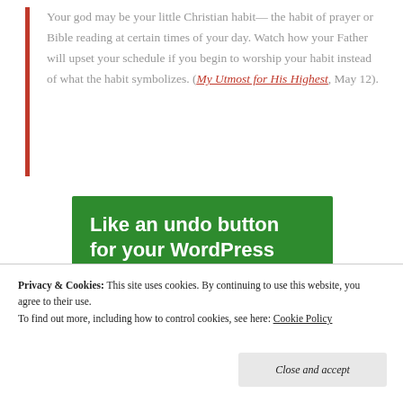Your god may be your little Christian habit—the habit of prayer or Bible reading at certain times of your day. Watch how your Father will upset your schedule if you begin to worship your habit instead of what the habit symbolizes. (My Utmost for His Highest, May 12).
[Figure (infographic): Green advertisement banner reading 'Like an undo button for your WordPress site' with a white button labeled 'Back up your site']
Privacy & Cookies: This site uses cookies. By continuing to use this website, you agree to their use. To find out more, including how to control cookies, see here: Cookie Policy
Close and accept